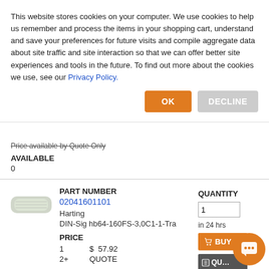This website stores cookies on your computer. We use cookies to help us remember and process the items in your shopping cart, understand and save your preferences for future visits and compile aggregate data about site traffic and site interaction so that we can offer better site experiences and tools in the future. To find out more about the cookies we use, see our Privacy Policy.
Price available by Quote Only
AVAILABLE
0
PART NUMBER
02041601101
Harting
DIN-Sig hb64-160FS-3,0C1-1-Tra
PRICE
1   $  57.92
2+   QUOTE
QUANTITY
in 24 hrs
WEB PRICES ONLY